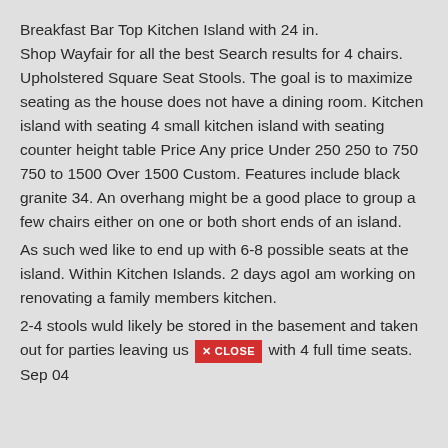Breakfast Bar Top Kitchen Island with 24 in. Shop Wayfair for all the best Search results for 4 chairs. Upholstered Square Seat Stools. The goal is to maximize seating as the house does not have a dining room. Kitchen island with seating 4 small kitchen island with seating counter height table Price Any price Under 250 250 to 750 750 to 1500 Over 1500 Custom. Features include black granite 34. An overhang might be a good place to group a few chairs either on one or both short ends of an island.
As such wed like to end up with 6-8 possible seats at the island. Within Kitchen Islands. 2 days agoI am working on renovating a family members kitchen.
2-4 stools wuld likely be stored in the basement and taken out for parties leaving us with 4 full time seats. Sep 04